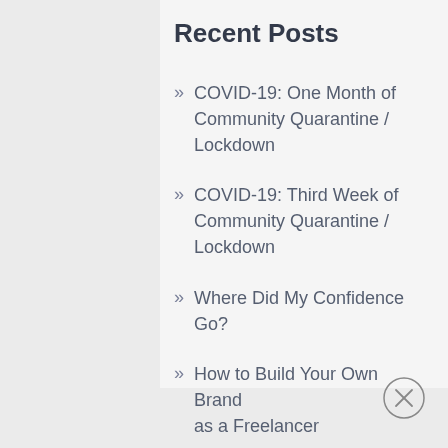Recent Posts
COVID-19: One Month of Community Quarantine / Lockdown
COVID-19: Third Week of Community Quarantine / Lockdown
Where Did My Confidence Go?
How to Build Your Own Brand as a Freelancer